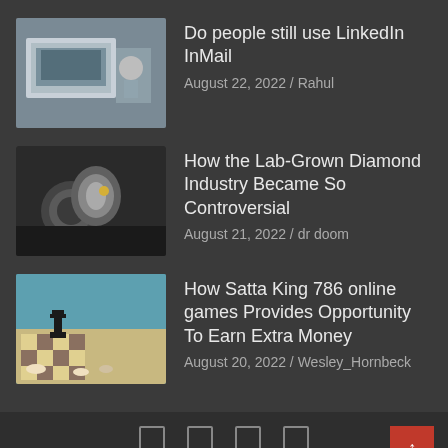Do people still use LinkedIn InMail
August 22, 2022 / Rahul
How the Lab-Grown Diamond Industry Became So Controversial
August 21, 2022 / dr doom
How Satta King 786 online games Provides Opportunity To Earn Extra Money
August 20, 2022 / Wesley_Hornbeck
Copyright © 2022 Mynewsfit | Theme by: Theme Horse | Proudly Powered by: WordPress